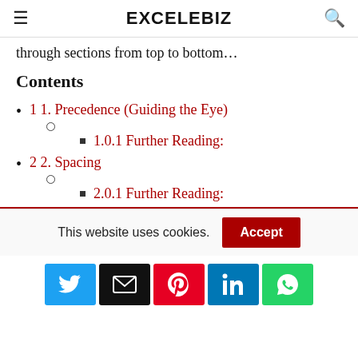EXCELEBIZ
through sections from top to bottom…
Contents
1 1. Precedence (Guiding the Eye)
1.0.1 Further Reading:
2 2. Spacing
2.0.1 Further Reading:
This website uses cookies.
Accept